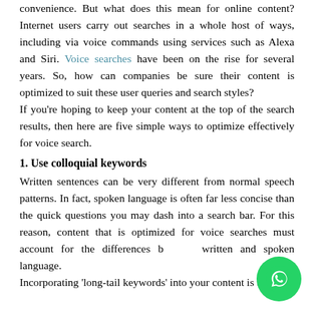convenience. But what does this mean for online content? Internet users carry out searches in a whole host of ways, including via voice commands using services such as Alexa and Siri. Voice searches have been on the rise for several years. So, how can companies be sure their content is optimized to suit these user queries and search styles?
If you're hoping to keep your content at the top of the search results, then here are five simple ways to optimize effectively for voice search.
1. Use colloquial keywords
Written sentences can be very different from normal speech patterns. In fact, spoken language is often far less concise than the quick questions you may dash into a search bar. For this reason, content that is optimized for voice searches must account for the differences between written and spoken language.
Incorporating 'long-tail keywords' into your content is the